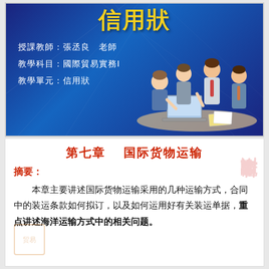[Figure (illustration): Blue banner slide with title '信用狀' in yellow, instructor info in white text (授課教師：張丞良 老師, 教學科目：國際貿易實務Ⅰ, 教學單元：信用狀), and illustrated cartoon figures of business people gathered around a laptop on the right side.]
第七章　国际货物运输
摘要：
本章主要讲述国际货物运输采用的几种运输方式，合同中的装运条款如何拟订，以及如何运用好有关装运单据，重点讲述海洋运输方式中的相关问题。